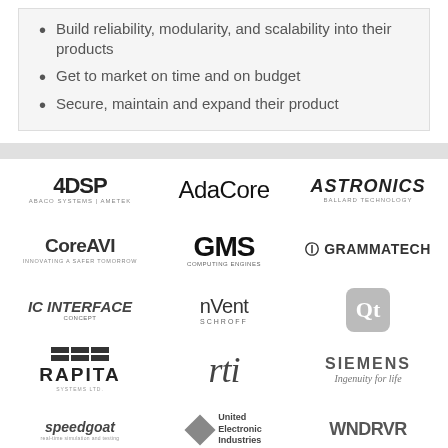Build reliability, modularity, and scalability into their products
Get to market on time and on budget
Secure, maintain and expand their product
[Figure (logo): 4DSP Abaco Ametek logo]
[Figure (logo): AdaCore logo]
[Figure (logo): Astronics Ballard Technology logo]
[Figure (logo): CoreAVI Innovating a Safer Tomorrow logo]
[Figure (logo): GMS Computing Engines logo]
[Figure (logo): GrammaTech logo]
[Figure (logo): IC Interface Concept logo]
[Figure (logo): nVent Schroff logo]
[Figure (logo): Qt logo]
[Figure (logo): Rapita Systems logo]
[Figure (logo): RTI logo]
[Figure (logo): Siemens Ingenuity for Life logo]
[Figure (logo): speedgoat logo]
[Figure (logo): United Electronic Industries logo]
[Figure (logo): Wind River WNDRVR logo]